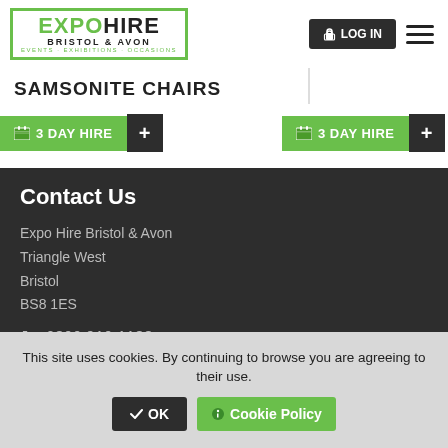[Figure (screenshot): Expo Hire Bristol & Avon website header with logo, LOG IN button and hamburger menu]
SAMSONITE CHAIRS
3 DAY HIRE + | 3 DAY HIRE +
Contact Us
Expo Hire Bristol & Avon
Triangle West
Bristol
BS8 1ES
0800 910 1188
sales@expohire.com
support@expohire.com
This site uses cookies. By continuing to browse you are agreeing to their use.
OK | Cookie Policy